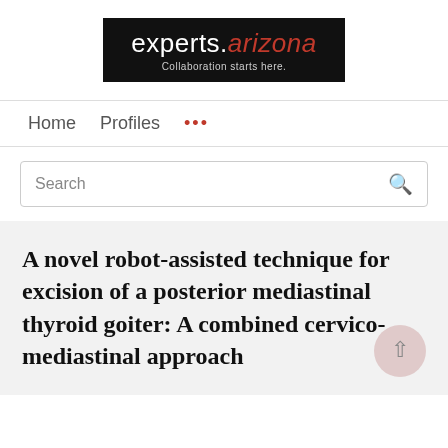[Figure (logo): experts.arizona logo on black background with tagline 'Collaboration starts here.']
Home   Profiles   ...
Search
A novel robot-assisted technique for excision of a posterior mediastinal thyroid goiter: A combined cervico-mediastinal approach